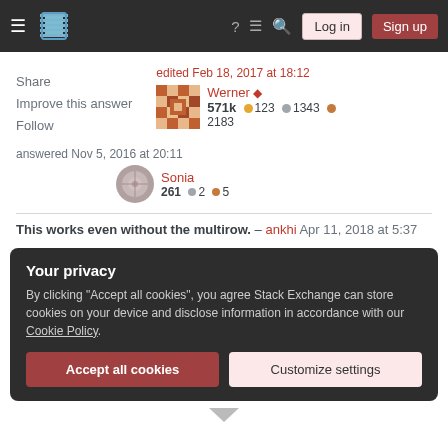Stack Exchange navigation bar with Log in and Sign up buttons
Share
Improve this answer
Follow
edited Feb 18, 2017 at 18:12
Werner ◆
571k ● 123 ● 1343 ● 2183
answered Nov 5, 2016 at 20:11
Sonia
261 ● 2 ● 5
This works even without the multirow. – ankhi Apr 11, 2018 at 5:37
Your privacy
By clicking "Accept all cookies", you agree Stack Exchange can store cookies on your device and disclose information in accordance with our Cookie Policy.
Accept all cookies    Customize settings